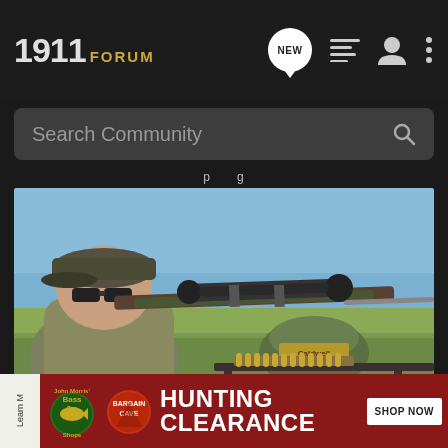1911 FORUM
Search Community
...p...g...
[Figure (photo): Man wearing a camo cap and sunglasses aiming a bolt-action rifle with a scope from a shooting rest bag outdoors on a flat grassy field. Ammunition visible on the shooting table.]
[Figure (infographic): Bass Pro Shops advertisement banner: Bass Pro Shops logo, Bargain Cave logo, text 'HUNTING CLEARANCE', 'SHOP NOW' button on dark red background. Left edge shows 'Learn M...' partial text on white.]